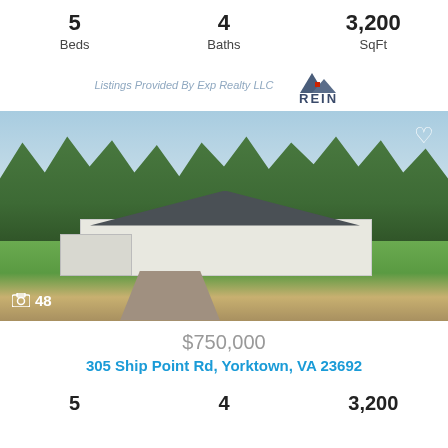5 Beds   4 Baths   3,200 SqFt
[Figure (logo): REIN Real Estate Information Network Inc. logo with mountain graphic]
Listings Provided By Exp Realty LLC
[Figure (photo): Aerial/drone photo of a white single-story ranch house with dark roof, surrounded by trees, with a driveway and garage. Photo count: 48.]
$750,000
305 Ship Point Rd, Yorktown, VA 23692
5   4   3,200